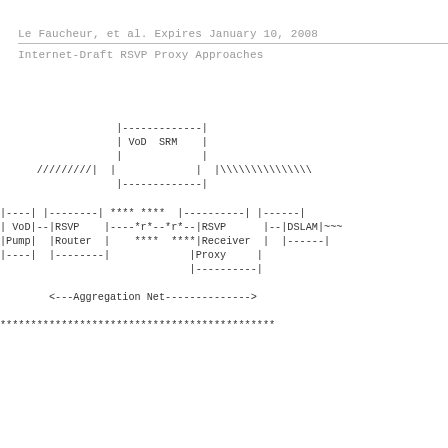Le Faucheur, et al.      Expires January 10, 2008
Internet-Draft                RSVP Proxy Approaches
[Figure (network-graph): ASCII art network diagram showing VoD SRM server connected via dashed lines through RSVP Router and RSVP Receiver Proxy to DSLAM, with aggregation network label and VoD Pump, routers, and DSLAM nodes shown in ASCII box notation.]